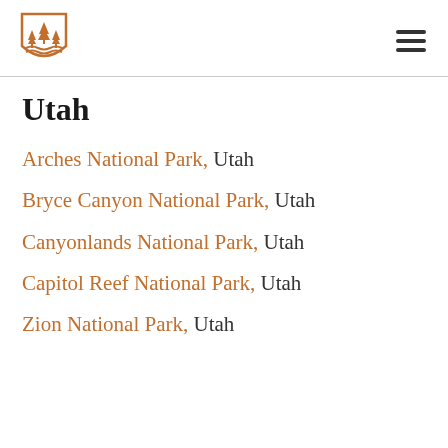Utah — National Parks logo and navigation
Utah
Arches National Park, Utah
Bryce Canyon National Park, Utah
Canyonlands National Park, Utah
Capitol Reef National Park, Utah
Zion National Park, Utah